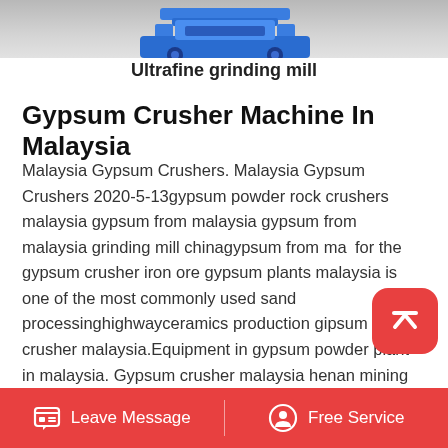[Figure (photo): Top portion of a blue industrial grinding mill machine on a grey background]
Ultrafine grinding mill
Gypsum Crusher Machine In Malaysia
Malaysia Gypsum Crushers. Malaysia Gypsum Crushers 2020-5-13gypsum powder rock crushers malaysia gypsum from malaysia gypsum from malaysia grinding mill chinagypsum from malaysia for the gypsum crusher iron ore gypsum plants malaysia is one of the most commonly used sand processinghighwayceramics production gipsum crusher malaysia.Equipment in gypsum powder plant in malaysia. Gypsum crusher malaysia henan mining machinery co ltd concrete crusher machine in kuala lumpur malaysia gypsum supplierfluorine
Leave Message   Free Service